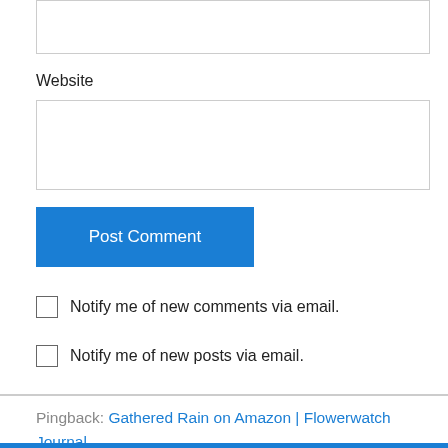Website
Post Comment
Notify me of new comments via email.
Notify me of new posts via email.
Pingback: Gathered Rain on Amazon | Flowerwatch Journal